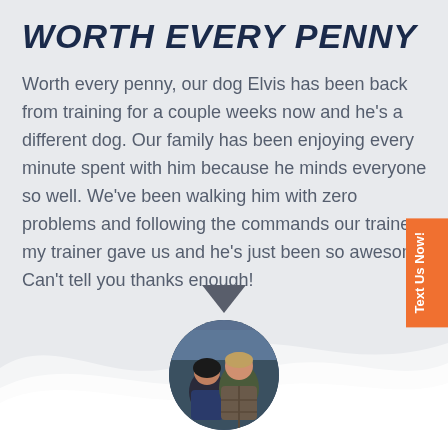WORTH EVERY PENNY
Worth every penny, our dog Elvis has been back from training for a couple weeks now and he's a different dog. Our family has been enjoying every minute spent with him because he minds everyone so well. We've been walking him with zero problems and following the commands our trainer my trainer gave us and he's just been so awesome. Can't tell you thanks enough!
[Figure (photo): Circular profile photo of a couple (man and woman) at what appears to be a sporting event, with stadium seating visible in the background.]